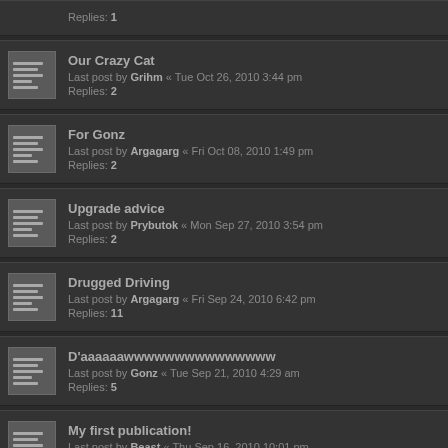Replies: 1
Our Crazy Cat — Last post by Grihm « Tue Oct 26, 2010 3:44 pm — Replies: 2
For Gonz — Last post by Argagarg « Fri Oct 08, 2010 1:49 pm — Replies: 2
Upgrade advice — Last post by Prybutok « Mon Sep 27, 2010 3:54 pm — Replies: 2
Drugged Driving — Last post by Argagarg « Fri Sep 24, 2010 6:42 pm — Replies: 11
D'aaaaaawwwwwwwwwwwwwww — Last post by Gonz « Tue Sep 21, 2010 4:29 am — Replies: 5
My first publication! — Last post by Beast « Thu Sep 16, 2010 10:01 pm — Replies: 14
Comparing timeofday in C — Last post by remagi « Thu Sep 16, 2010 4:09 pm — Replies: 1
Favorite song